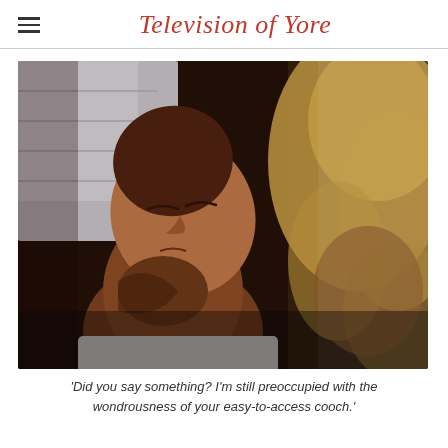Television of Yore
[Figure (photo): Close-up photograph of two people, one with dark skin and closed eyes tilting their head back, the other with blonde hair visible on the right side, suggesting an intimate moment.]
'Did you say something? I'm still preoccupied with the wondrousness of your easy-to-access cooch.'